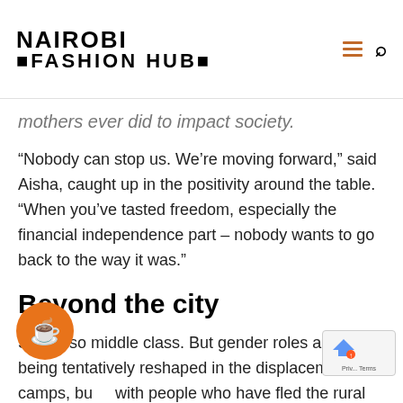NAIROBI FASHION HUB
mothers ever did to impact society.
“Nobody can stop us. We’re moving forward,” said Aisha, caught up in the positivity around the table. “When you’ve tasted freedom, especially the financial independence part – nobody wants to go back to the way it was.”
Beyond the city
So far, so middle class. But gender roles are also being tentatively reshaped in the displacement camps, but with people who have fled the rural areas where the war is being fought – a conflict that has killed at least 35,000 people and forced more than two million people